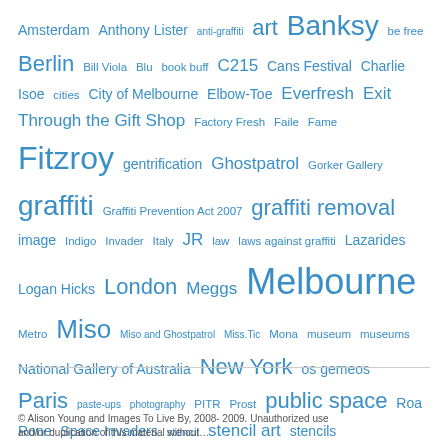[Figure (other): Tag cloud with street art related terms in varying sizes in blue, including Amsterdam, Anthony Lister, anti-graffiti, art, Banksy, be free, Berlin, Bill Viola, Blu, book buff, C215, Cans Festival, Charlie Isoe, cities, City of Melbourne, Elbow-Toe, Everfresh, Exit Through the Gift Shop, Factory Fresh, Faile, Fame, Fitzroy, gentrification, Ghostpatrol, Gorker Gallery, graffiti, Graffiti Prevention Act 2007, graffiti removal, image, Indigo, Invader, Italy, JR, law, laws against graffiti, Lazarides, Logan Hicks, London, Meggs, Melbourne, Metro, Miso, Miso and Ghostpatrol, Miss.Tic, Mona, museum, museums, National Gallery of Australia, New York, os gemeos, Paris, paste-ups, photography, PITR, Prost, public space, Roa, Rone, Space Invaders, stencil, stencil art, stencils, Street/Studio, Street art, Superheroes, Sweet Streets, swoon, Tagging, tags, Urban space, Vandalog, Vexta, Wooster Collective, yarn bombing]
© Alison Young and Images To Live By, 2008- 2009. Unauthorized use and/or duplication of this material without...